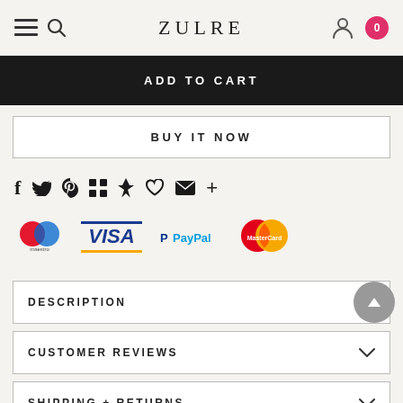ZULRE
ADD TO CART
BUY IT NOW
[Figure (other): Social sharing icons row: Facebook, Twitter, Pinterest, Google+, Fancy, Fancy/heart, Email, plus more]
[Figure (other): Payment method logos: Maestro, Visa, PayPal, MasterCard]
DESCRIPTION
CUSTOMER REVIEWS
SHIPPING + RETURNS